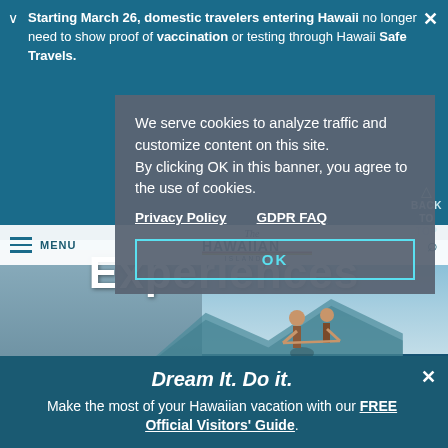Starting March 26, domestic travelers entering Hawaii no longer need to show proof of vaccination or testing through Hawaii Safe Travels.
We serve cookies to analyze traffic and customize content on this site. By clicking OK in this banner, you agree to the use of cookies.
Privacy Policy   GDPR FAQ
OK
[Figure (logo): The Hawaiian Islands logo with stylized text and red/gold stripe]
MENU
Experiences
BACK TO TOP
Dream It. Do it.
Make the most of your Hawaiian vacation with our FREE Official Visitors' Guide.